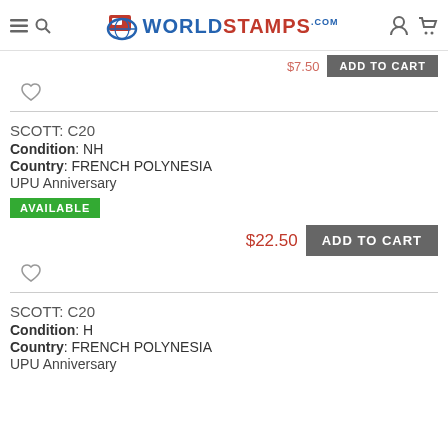WorldStamps.com
$7.50 ADD TO CART
SCOTT: C20
Condition: NH
Country: FRENCH POLYNESIA
UPU Anniversary
AVAILABLE
$22.50 ADD TO CART
SCOTT: C20
Condition: H
Country: FRENCH POLYNESIA
UPU Anniversary